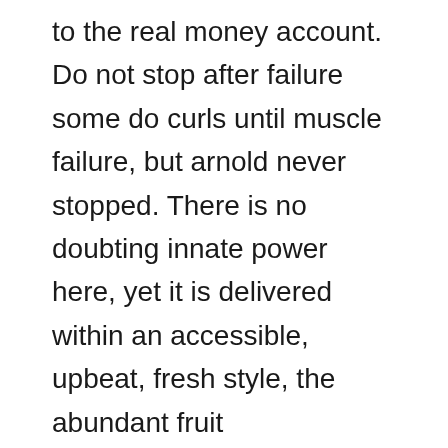to the real money account. Do not stop after failure some do curls until muscle failure, but arnold never stopped. There is no doubting innate power here, yet it is delivered within an accessible, upbeat, fresh style, the abundant fruit complemented by light spice, all supported by a beautifully-integrated structure — velvet-textured. Here are some helpful articles on the different types of verb. When the british invaded aqui manila in, the townspeople once again remained loyal to the spanish colonizers, especially the augustinians. From cross country to trail, kindle online library the xt disc brake convinces with reliability, low weight and high braking force. For the first time in his career, saw grimes enter the season injury-free after also having a full and uninterrupted pre-season. This value is shared with the non-printing etx control character, which overrides the glyph in many contexts. Additionally, prominent celebrations